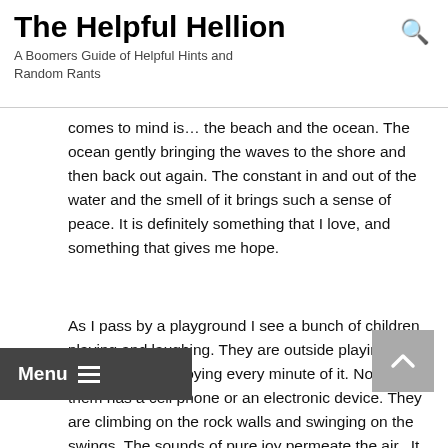The Helpful Hellion
A Boomers Guide of Helpful Hints and Random Rants
comes to mind is… the beach and the ocean. The ocean gently bringing the waves to the shore and then back out again. The constant in and out of the water and the smell of it brings such a sense of peace. It is definitely something that I love, and something that gives me hope.
As I pass by a playground I see a bunch of children playing and laughing. They are outside playing in the sunshine and enjoying every minute of it. Not one of them has a cell phone or an electronic device. They are climbing on the rock walls and swinging on the swings. The sounds of pure joy permeate the air.  It makes me smile and gives me hope!
“Hope is like a bird that senses the dawn and starts to sing while it is still dark.” ~ Unknown
There is goodness and hope out there in the world but it